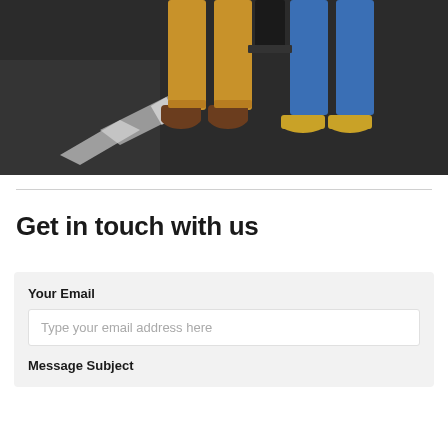[Figure (photo): Overhead/low-angle photo showing two people seated, one wearing mustard/yellow-ochre pants with brown boots, another wearing blue jeans with gold sandals, on a dark patterned carpet floor with a white geometric shape visible.]
Get in touch with us
Your Email
Type your email address here
Message Subject